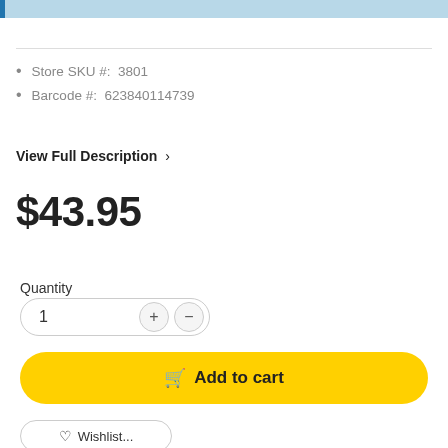[Figure (other): Light blue header bar with blue left border accent]
Store SKU #:  3801
Barcode #:  623840114739
View Full Description  >
$43.95
Quantity
1
Add to cart
Wishlist...